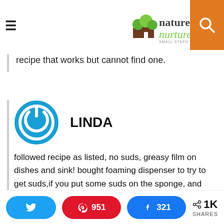nature's nurture — SMALL STEPS TO A NON-TOXIC HOME
recipe that works but cannot find one.
LINDA
followed recipe as listed, no suds, greasy film on dishes and sink! bought foaming dispenser to try to get suds,if you put some suds on the sponge, and wash one item at a time, you have the suds, but still greasy
Twitter share | Pinterest 951 | Facebook 321 | 1K SHARES